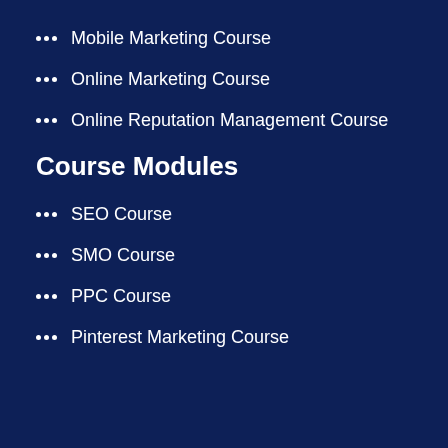Mobile Marketing Course
Online Marketing Course
Online Reputation Management Course
Course Modules
SEO Course
SMO Course
PPC Course
Pinterest Marketing Course